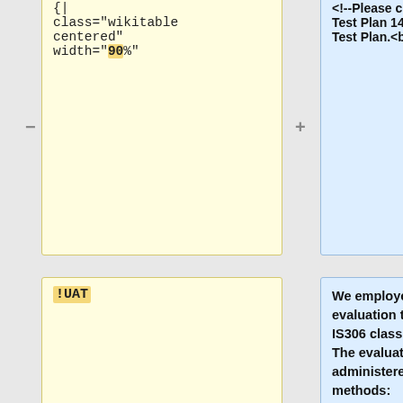{
|
class="wikitable centered"
width="90%"
<!--Please click [[Media:GENShYFT Test Plan 140221.pdf|here]] for our Test Plan.<br />-->
!UAT
We employed a variety of evaluation techniques learnt from IS306 class the previous semester. The evaluation tests that we administered include the following methods:
# Lab Experiment